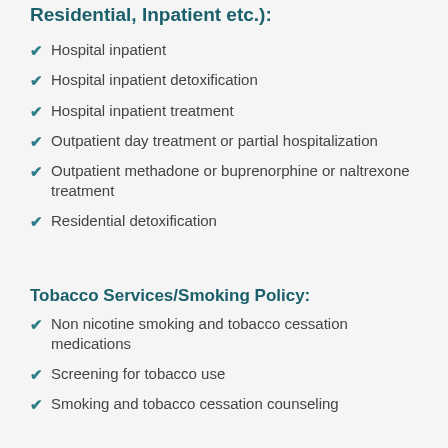Residential, Inpatient etc.):
Hospital inpatient
Hospital inpatient detoxification
Hospital inpatient treatment
Outpatient day treatment or partial hospitalization
Outpatient methadone or buprenorphine or naltrexone treatment
Residential detoxification
Tobacco Services/Smoking Policy:
Non nicotine smoking and tobacco cessation medications
Screening for tobacco use
Smoking and tobacco cessation counseling